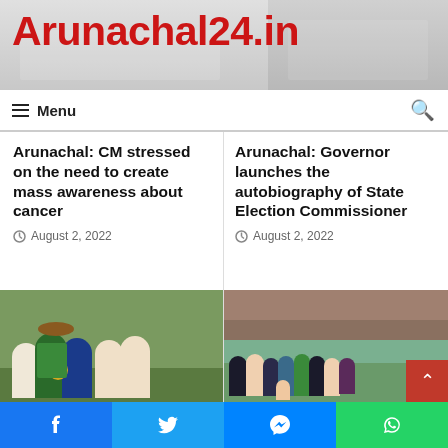Arunachal24.in
Menu
Arunachal: CM stressed on the need to create mass awareness about cancer
August 2, 2022
Arunachal: Governor launches the autobiography of State Election Commissioner
August 2, 2022
[Figure (photo): Photo of people at an event, man in green vest with traditional hat holding a plaque/award]
Arunachal: Director IPR Dasher Teshi retires on
[Figure (photo): Group photo of people standing in front of a building]
Itanagar: JVYWA's office inaugurated at Jollang